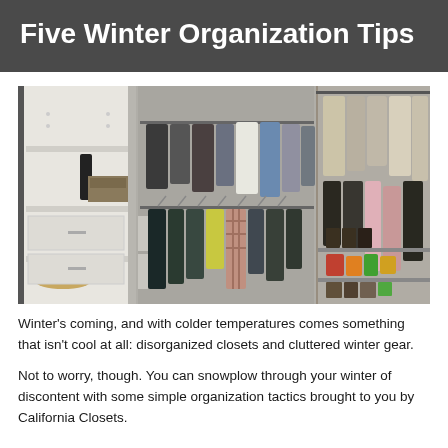Five Winter Organization Tips
[Figure (photo): A walk-in closet with white shelving units, hanging clothes on rods including jackets, shirts, and casual wear, shoes on lower shelves, and storage drawers on the left side.]
Winter's coming, and with colder temperatures comes something that isn't cool at all: disorganized closets and cluttered winter gear.
Not to worry, though. You can snowplow through your winter of discontent with some simple organization tactics brought to you by California Closets.